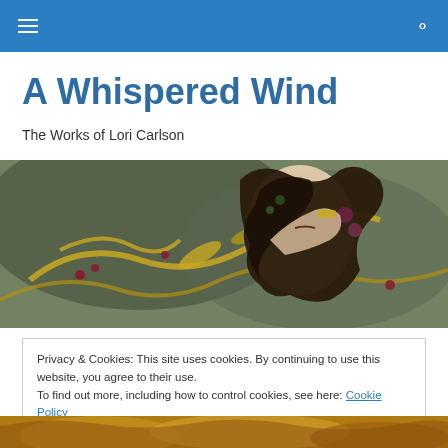A Whispered Wind — navigation bar with hamburger menu and search icon
A Whispered Wind
The Works of Lori Carlson
[Figure (illustration): Fantasy illustration of a woman with dark flowing hair adorned with flowers and golden serpentine shapes against a muted background]
Privacy & Cookies: This site uses cookies. By continuing to use this website, you agree to their use.
To find out more, including how to control cookies, see here: Cookie Policy
Close and accept
[Figure (illustration): Bottom portion of another illustration visible at the bottom edge of the page, showing golden/warm tones]